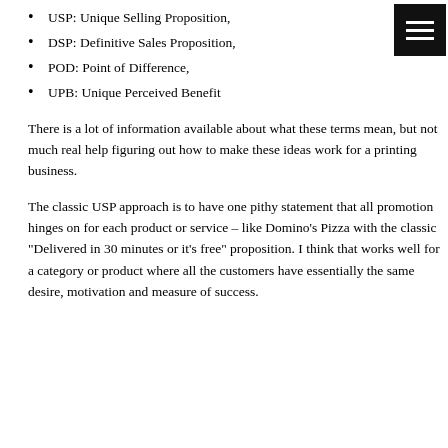USP: Unique Selling Proposition,
DSP: Definitive Sales Proposition,
POD: Point of Difference,
UPB: Unique Perceived Benefit
There is a lot of information available about what these terms mean, but not much real help figuring out how to make these ideas work for a printing business.
The classic USP approach is to have one pithy statement that all promotion hinges on for each product or service – like Domino's Pizza with the classic "Delivered in 30 minutes or it's free" proposition. I think that works well for a category or product where all the customers have essentially the same desire, motivation and measure of success.